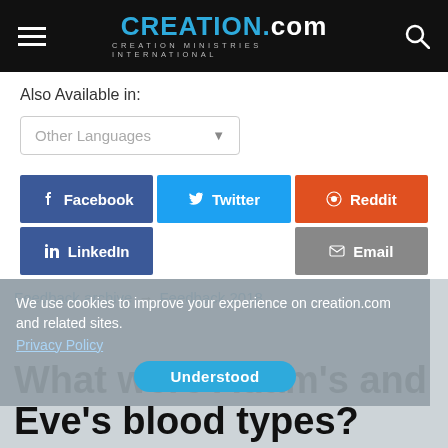CREATION.com — CREATION MINISTRIES INTERNATIONAL
Also Available in:
Other Languages
[Figure (screenshot): Social share buttons: Facebook (dark blue), Twitter (light blue), Reddit (orange), LinkedIn (dark blue), Email (grey)]
Feedback archive → Feedback 2018
We use cookies to improve your experience on creation.com and related sites.
Privacy Policy
What were Adam's and Eve's blood types?
Terry T revisits the issue of how different blood groups could have arisen if we all came from Adam and Eve.